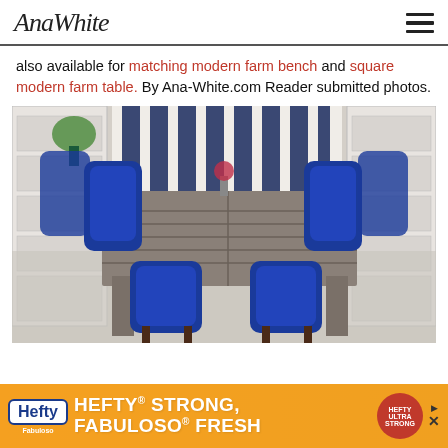AnaWhite
also available for matching modern farm bench and square modern farm table. By Ana-White.com Reader submitted photos.
[Figure (photo): A rustic grey wood farm dining table with six blue upholstered chairs in a room with white bookshelves and blue-striped wallpaper]
[Figure (infographic): Hefty advertisement banner: HEFTY STRONG, FABULOSO FRESH with orange background and Hefty logo]